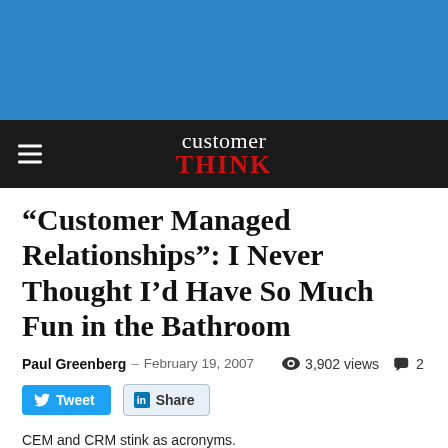[Figure (other): Blue banner header background]
customer THINK
“Customer Managed Relationships”: I Never Thought I’d Have So Much Fun in the Bathroom
Paul Greenberg – February 19, 2007  3,902 views  2
Tweet  Share
CEM and CRM stink as acronyms.